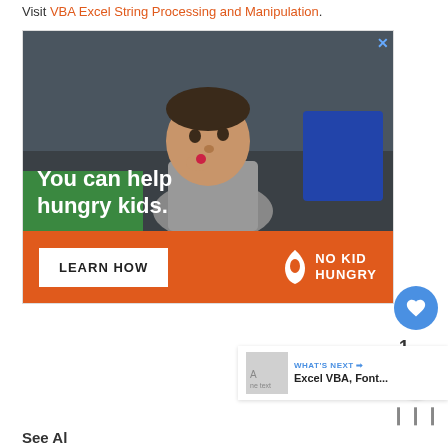Visit VBA Excel String Processing and Manipulation.
[Figure (photo): Advertisement banner: A child eating food with text 'You can help hungry kids.' and a 'LEARN HOW' button, No Kid Hungry logo on orange background]
1
WHAT'S NEXT → Excel VBA, Font...
See Also